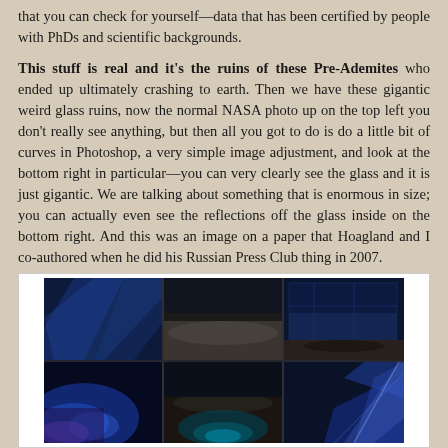that you can check for yourself—data that has been certified by people with PhDs and scientific backgrounds.
This stuff is real and it's the ruins of these Pre-Ademites who ended up ultimately crashing to earth. Then we have these gigantic weird glass ruins, now the normal NASA photo up on the top left you don't really see anything, but then all you got to do is do a little bit of curves in Photoshop, a very simple image adjustment, and look at the bottom right in particular—you can very clearly see the glass and it is just gigantic. We are talking about something that is enormous in size; you can actually even see the reflections off the glass inside on the bottom right. And this was an image on a paper that Hoagland and I co-authored when he did his Russian Press Club thing in 2007.
[Figure (photo): A composite image showing multiple views of a lunar or planetary surface with blue-tinted light effects suggesting glass or reflective structures. The images are arranged in a 2x2 or 3x2 grid showing various angles and image processing versions.]